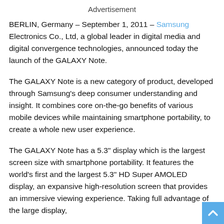Advertisement
BERLIN, Germany – September 1, 2011 – Samsung Electronics Co., Ltd, a global leader in digital media and digital convergence technologies, announced today the launch of the GALAXY Note.
The GALAXY Note is a new category of product, developed through Samsung's deep consumer understanding and insight. It combines core on-the-go benefits of various mobile devices while maintaining smartphone portability, to create a whole new user experience.
The GALAXY Note has a 5.3" display which is the largest screen size with smartphone portability. It features the world's first and the largest 5.3" HD Super AMOLED display, an expansive high-resolution screen that provides an immersive viewing experience. Taking full advantage of the large display,